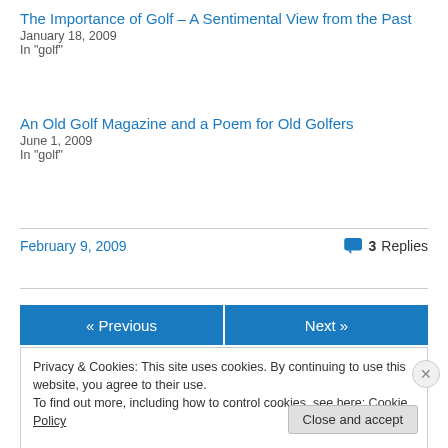The Importance of Golf – A Sentimental View from the Past
January 18, 2009
In "golf"
An Old Golf Magazine and a Poem for Old Golfers
June 1, 2009
In "golf"
February 9, 2009
3 Replies
« Previous
Next »
Privacy & Cookies: This site uses cookies. By continuing to use this website, you agree to their use.
To find out more, including how to control cookies, see here: Cookie Policy
Close and accept